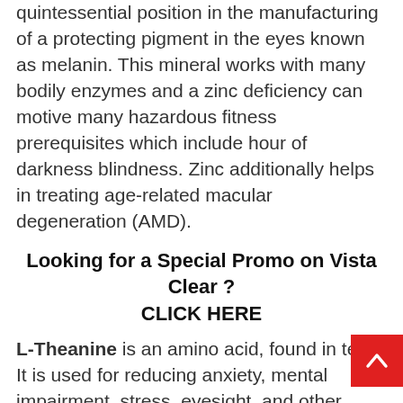quintessential position in the manufacturing of a protecting pigment in the eyes known as melanin. This mineral works with many bodily enzymes and a zinc deficiency can motive many hazardous fitness prerequisites which include hour of darkness blindness. Zinc additionally helps in treating age-related macular degeneration (AMD).
Looking for a Special Promo on Vista Clear ? CLICK HERE
L-Theanine is an amino acid, found in tea. It is used for reducing anxiety, mental impairment, stress, eyesight, and other conditions. It also helps in increasing focus and, alertness which leads to accuracy in terms of eye movement and the control to the movement of the eye. It benefits the eye by relaxing the blood vessels to the eye.